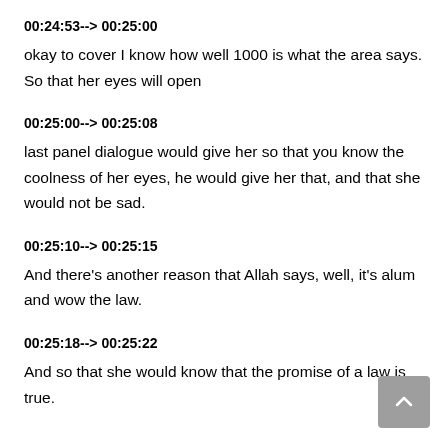00:24:53--> 00:25:00
okay to cover I know how well 1000 is what the area says. So that her eyes will open
00:25:00--> 00:25:08
last panel dialogue would give her so that you know the coolness of her eyes, he would give her that, and that she would not be sad.
00:25:10--> 00:25:15
And there's another reason that Allah says, well, it's alum and wow the law.
00:25:18--> 00:25:22
And so that she would know that the promise of a law is true.